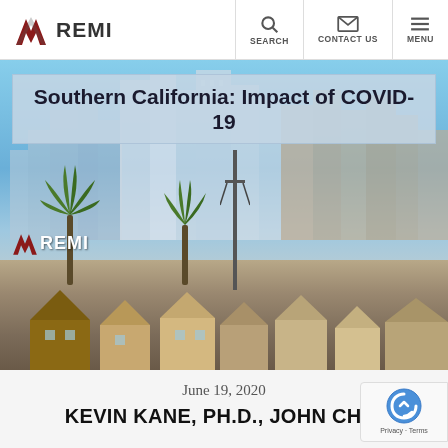REMI | SEARCH | CONTACT US | MENU
[Figure (photo): Southern California city skyline (Los Angeles) with skyscrapers, palm trees, urban neighborhood in foreground, blue sky background. Title overlay reads 'Southern California: Impact of COVID-19'. REMI logo watermark in lower left of photo.]
Southern California: Impact of COVID-19
June 19, 2020
KEVIN KANE, PH.D., JOHN CHO,